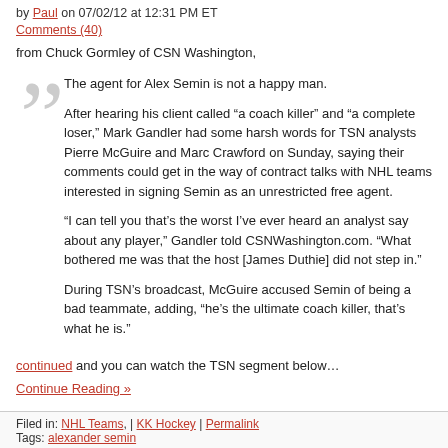by Paul on 07/02/12 at 12:31 PM ET
Comments (40)
from Chuck Gormley of CSN Washington,
The agent for Alex Semin is not a happy man.

After hearing his client called “a coach killer” and “a complete loser,” Mark Gandler had some harsh words for TSN analysts Pierre McGuire and Marc Crawford on Sunday, saying their comments could get in the way of contract talks with NHL teams interested in signing Semin as an unrestricted free agent.

“I can tell you that’s the worst I’ve ever heard an analyst say about any player,” Gandler told CSNWashington.com. “What bothered me was that the host [James Duthie] did not step in.”

During TSN’s broadcast, McGuire accused Semin of being a bad teammate, adding, “he’s the ultimate coach killer, that’s what he is.”
continued and you can watch the TSN segment below…
Continue Reading »
Filed in: NHL Teams, | KK Hockey | Permalink
Tags: alexander semin